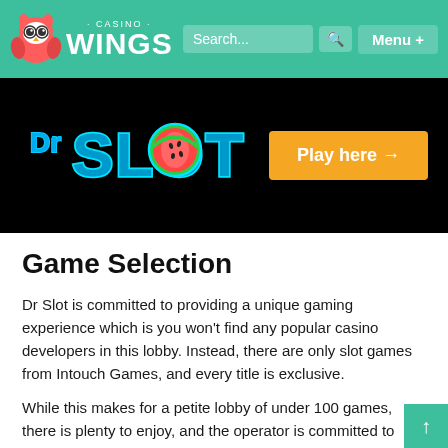· CASINO · WINGS — Search... [search icon] Menu +
[Figure (screenshot): Dr Slot casino banner on black background with neon blue 'Dr SLOT' logo (with watermelon slice as the O) and an orange 'Play here →' button]
Game Selection
Dr Slot is committed to providing a unique gaming experience which is you won't find any popular casino developers in this lobby. Instead, there are only slot games from Intouch Games, and every title is exclusive.
While this makes for a petite lobby of under 100 games, there is plenty to enjoy, and the operator is committed to releasing one new high-quality slot game per month; thus,